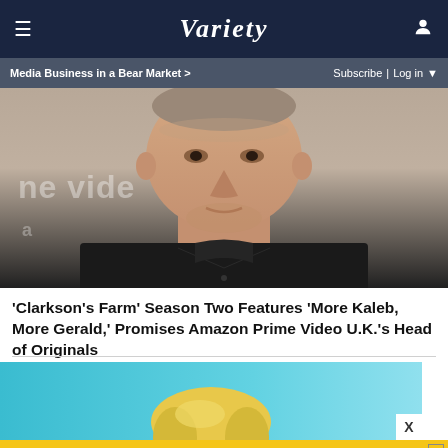VARIETY — Media Business in a Bear Market > | Subscribe | Log in
[Figure (photo): Close-up photo of a heavyset older man in a black shirt at an Amazon Prime Video event, with partial 'Prime Video' logo visible in background]
'Clarkson's Farm' Season Two Features 'More Kaleb, More Gerald,' Promises Amazon Prime Video U.K.'s Head of Originals
[Figure (photo): Partial photo of a blonde woman against a teal/blue background]
[Figure (other): Advertisement banner: MEET AIRWEAVE MODULAR, WASHABLE MATTRESS / SPY logo]